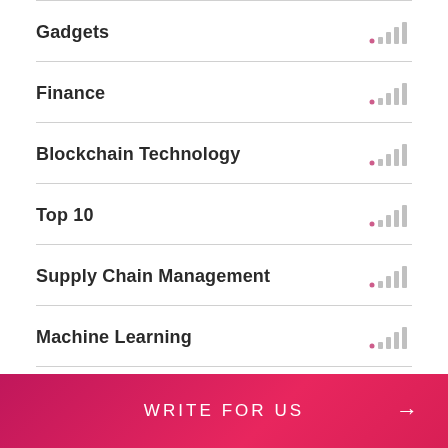Gadgets
Finance
Blockchain Technology
Top 10
Supply Chain Management
Machine Learning
Entertainment
WRITE FOR US →